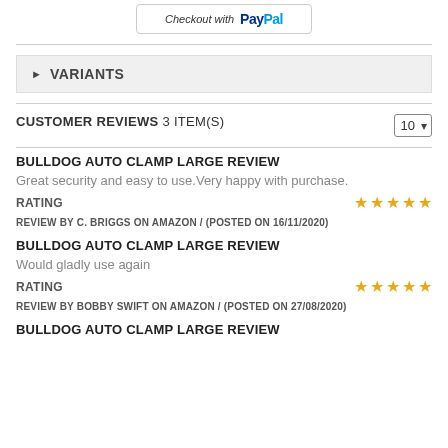[Figure (logo): PayPal checkout button]
VARIANTS
CUSTOMER REVIEWS 3 ITEM(S)
BULLDOG AUTO CLAMP LARGE REVIEW
Great security and easy to use.Very happy with purchase.
RATING ★★★★★
REVIEW BY C. BRIGGS ON AMAZON / (POSTED ON 16/11/2020)
BULLDOG AUTO CLAMP LARGE REVIEW
Would gladly use again
RATING ★★★★★
REVIEW BY BOBBY SWIFT ON AMAZON / (POSTED ON 27/08/2020)
BULLDOG AUTO CLAMP LARGE REVIEW